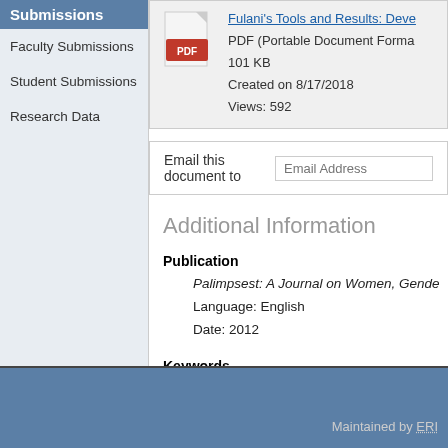Submissions
Faculty Submissions
Student Submissions
Research Data
Fulani's Tools and Results: Deve...
PDF (Portable Document Forma...
101 KB
Created on 8/17/2018
Views: 592
Email this document to
Additional Information
Publication
    Palimpsest: A Journal on Women, Gende...
    Language: English
    Date: 2012
Keywords
    Leonora Fulani, performance, human de...
Maintained by ERI...